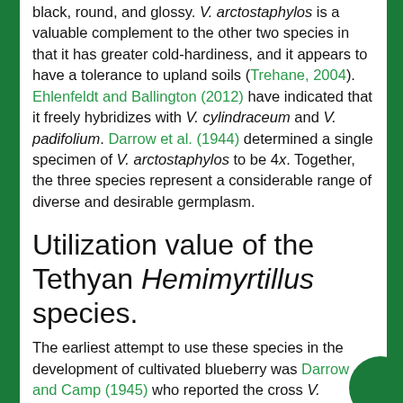black, round, and glossy. V. arctostaphylos is a valuable complement to the other two species in that it has greater cold-hardiness, and it appears to have a tolerance to upland soils (Trehane, 2004). Ehlenfeldt and Ballington (2012) have indicated that it freely hybridizes with V. cylindraceum and V. padifolium. Darrow et al. (1944) determined a single specimen of V. arctostaphylos to be 4x. Together, the three species represent a considerable range of diverse and desirable germplasm.
Utilization value of the Tethyan Hemimyrtillus species.
The earliest attempt to use these species in the development of cultivated blueberry was Darrow and Camp (1945) who reported the cross V. australe (= V. corymbosum) × V. arctostaphylos. They did not however